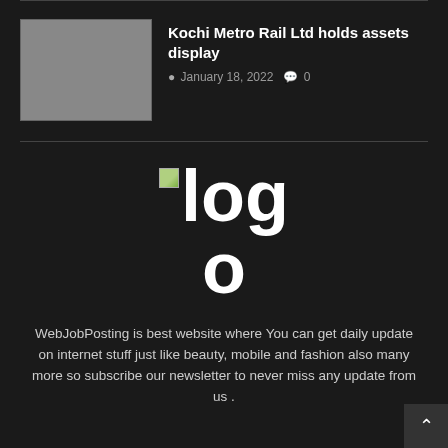[Figure (other): Article thumbnail placeholder (grey rectangle) with article title and metadata]
Kochi Metro Rail Ltd holds assets display
January 18, 2022  0
[Figure (logo): Logo text showing 'logo' in large bold white text on dark background, with a small broken image icon]
WebJobPosting is best website where You can get daily update on internet stuff just like beauty, mobile and fashion also many more so subscribe our newsletter to never miss any update from us .